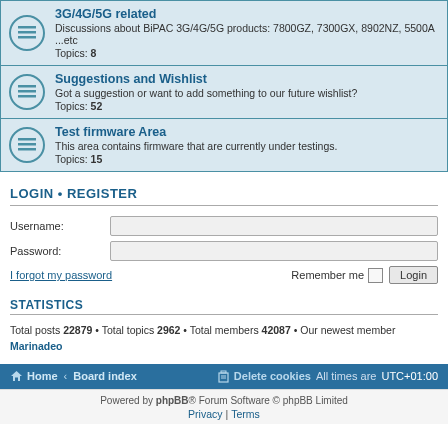3G/4G/5G related — Discussions about BiPAC 3G/4G/5G products: 7800GZ, 7300GX, 8902NZ, 5500A ...etc Topics: 8
Suggestions and Wishlist — Got a suggestion or want to add something to our future wishlist? Topics: 52
Test firmware Area — This area contains firmware that are currently under testings. Topics: 15
LOGIN • REGISTER
Username:
Password:
I forgot my password
Remember me  Login
STATISTICS
Total posts 22879 • Total topics 2962 • Total members 42087 • Our newest member Marinadeo
Home • Board index   Delete cookies   All times are UTC+01:00
Powered by phpBB® Forum Software © phpBB Limited  Privacy | Terms